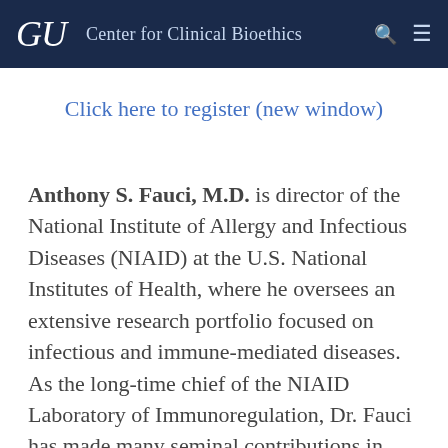GU  Center for Clinical Bioethics
Click here to register (new window)
Anthony S. Fauci, M.D. is director of the National Institute of Allergy and Infectious Diseases (NIAID) at the U.S. National Institutes of Health, where he oversees an extensive research portfolio focused on infectious and immune-mediated diseases.  As the long-time chief of the NIAID Laboratory of Immunoregulation, Dr. Fauci has made many seminal contributions in